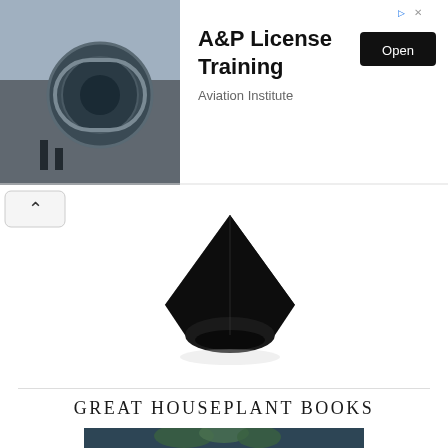[Figure (screenshot): Advertisement banner showing airplane engine scene on the left with text 'A&P License Training' and 'Aviation Institute' with an Open button on the right]
[Figure (photo): Dark geometric black object resembling an angular bowl or speaker, photographed on white background]
[Figure (screenshot): Scroll-up chevron button (^) on left side]
GREAT HOUSEPLANT BOOKS
[Figure (photo): Photo of a houseplant (leafy green plant in a yellow pot) on a dark blue-grey background]